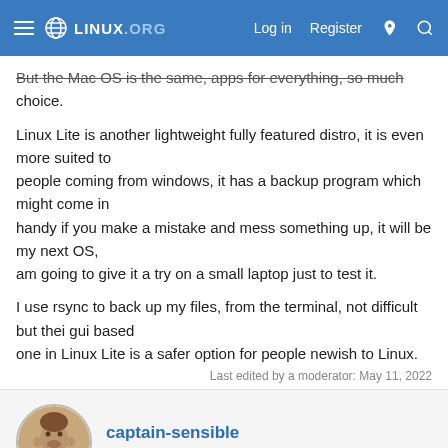LINUX.ORG — Log in  Register
But the Mac OS is the same, apps for everything, so much choice.
Linux Lite is another lightweight fully featured distro, it is even more suited to people coming from windows, it has a backup program which might come in handy if you make a mistake and mess something up, it will be my next OS, am going to give it a try on a small laptop just to test it.
I use rsync to back up my files, from the terminal, not difficult but thei gui based one in Linux Lite is a safer option for people newish to Linux.
Last edited by a moderator: May 11, 2022
captain-sensible
Well-Known Member